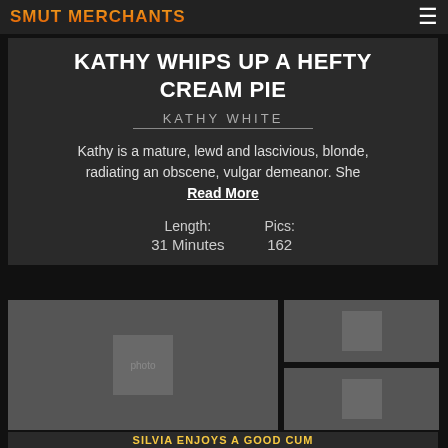SMUT MERCHANTS
KATHY WHIPS UP A HEFTY CREAM PIE
KATHY WHITE
Kathy is a mature, lewd and lascivious, blonde, radiating an obscene, vulgar demeanor. She Read More
Length: 31 Minutes   Pics: 162
[Figure (photo): Adult content photo - large image left]
[Figure (photo): Adult content photo - small top right]
[Figure (photo): Adult content photo - small bottom right]
SILVIA ENJOYS A GOOD CUM